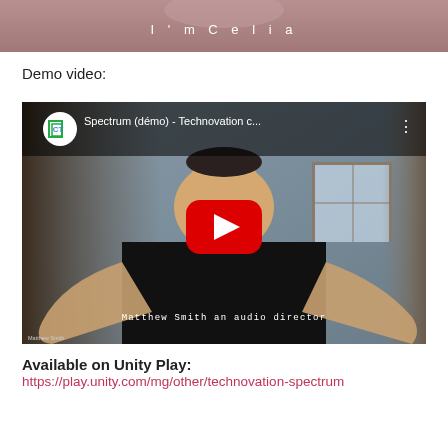[Figure (screenshot): Top portion of a video or app screen showing text 'I'm Celia' on a blurred/colored background]
Demo video:
[Figure (screenshot): YouTube video thumbnail showing 'Spectrum (démo) - Technovation c...' with a man in black shirt with hands raised, a YouTube play button overlay, and caption 'Matthew Smith an audio director']
Available on Unity Play:
https://play.unity.com/mg/other/technovation-spectrum